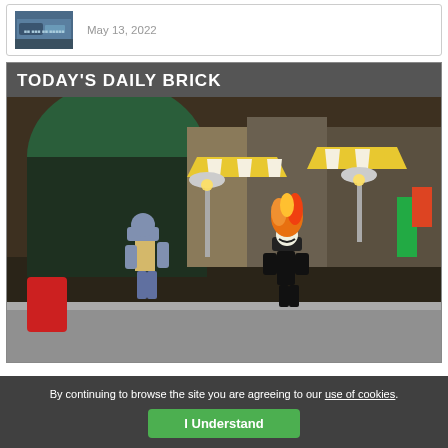[Figure (photo): Small thumbnail photo of a car, partially visible]
May 13, 2022
TODAY'S DAILY BRICK
[Figure (photo): LEGO minifigures scene: two LEGO characters running on a city street backdrop with illuminated shop awnings. Left figure is blue/grey with tan jacket; right figure has orange flame hair (Ghost Rider style) with black suit.]
By continuing to browse the site you are agreeing to our use of cookies.
I Understand